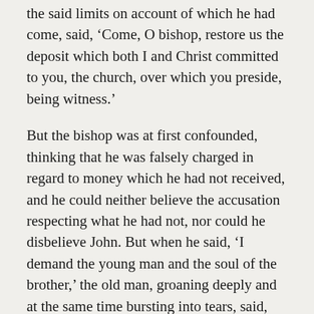the said limits on account of which he had come, said, ‘Come, O bishop, restore us the deposit which both I and Christ committed to you, the church, over which you preside, being witness.’
But the bishop was at first confounded, thinking that he was falsely charged in regard to money which he had not received, and he could neither believe the accusation respecting what he had not, nor could he disbelieve John. But when he said, ‘I demand the young man and the soul of the brother,’ the old man, groaning deeply and at the same time bursting into tears, said, ‘He is dead.’ ‘How and what kind of death?’ ‘He is dead to God,’ he said; ‘for he turned wicked and abandoned, and at last a robber. And now, instead of the church, he haunts